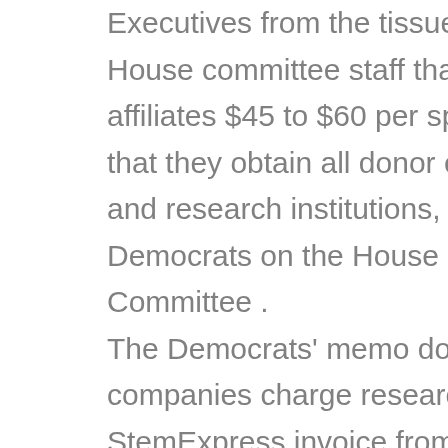Executives from the tissue-brokering companies told House committee staff that they paid Planned Parenthood affiliates $45 to $60 per specimen to cover clinic costs and that they obtain all donor consents required by state law and research institutions, according to a memo from Democrats on the House Energy and Commerce Committee . The Democrats' memo does not delve into fees the companies charge researchers for specimens, but a StemExpress invoice from 2013 shows the company charged Colorado State University $250 for a fetal liver and $250 for a fetal thymus, plus $85 for priority overnight shipping. Per-specimen fees charged to researchers by Advanced Bioscience Resources range from $340 to $550, depending on processing costs. The three companies are taking varying approaches to the scrutiny. Los Angeles-based Novogenix is the smallest, with just two employees and annual gross revenue of $130,000, according to a Dun and Bradstreet report. It has kept quiet